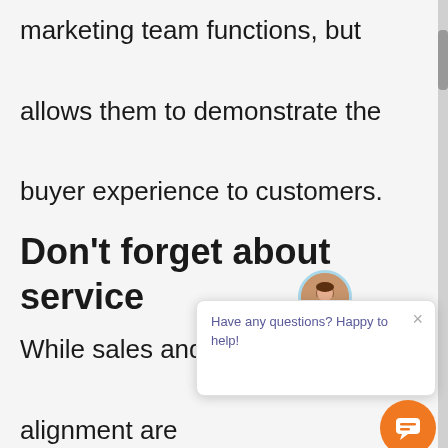marketing team functions, but allows them to demonstrate the buyer experience to customers.
Don't forget about service
While sales and marketing alignment are critical, your efforts will fail if you forget about service. It's critical to think about the customer's experience and the
[Figure (screenshot): Chat popup widget with avatar photo of a woman, close button (×), and message 'Have any questions? Happy to help!' with an orange chat button at bottom right.]